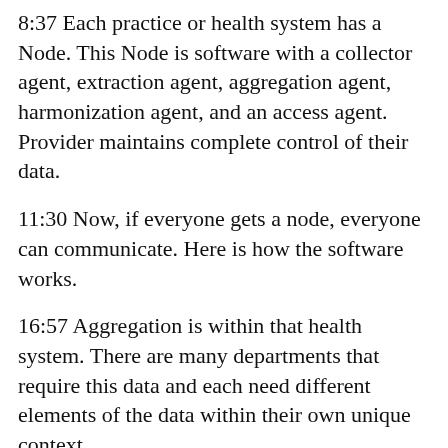8:37 Each practice or health system has a Node. This Node is software with a collector agent, extraction agent, aggregation agent, harmonization agent, and an access agent. Provider maintains complete control of their data.
11:30 Now, if everyone gets a node, everyone can communicate. Here is how the software works.
16:57 Aggregation is within that health system. There are many departments that require this data and each need different elements of the data within their own unique context.
19:38 Different health systems will have their data pulled in an EHR specific way. The harvesting agent is the only thing different in each Node. The software will send it to the node which then sends cleaned data to the database